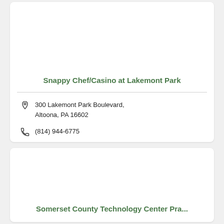Snappy Chef/Casino at Lakemont Park
300 Lakemont Park Boulevard, Altoona, PA 16602
(814) 944-6775
Somerset County Technology Center Pra...